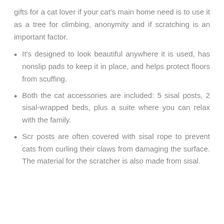gifts for a cat lover if your cat's main home need is to use it as a tree for climbing, anonymity and if scratching is an important factor.
It's designed to look beautiful anywhere it is used, has nonslip pads to keep it in place, and helps protect floors from scuffing.
Both the cat accessories are included: 5 sisal posts, 2 sisal-wrapped beds, plus a suite where you can relax with the family.
Scr posts are often covered with sisal rope to prevent cats from curling their claws from damaging the surface. The material for the scratcher is also made from sisal.